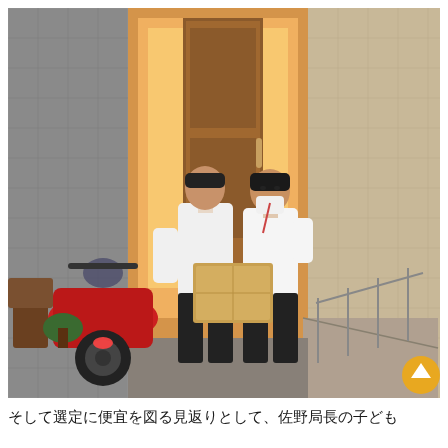[Figure (photo): Two men in white shirts standing at the entrance of a building at dusk. One man wearing a face mask holds a cardboard box. A red motorcycle/scooter is parked in the foreground. The building entrance has an illuminated interior with warm light. There is a ramp with railings on the right side.]
そして選定に便宜を図る見返りとして、佐野局長の子ども